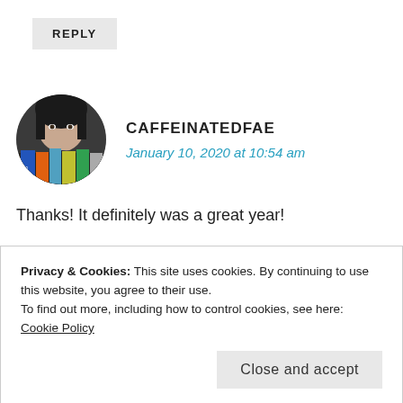REPLY
[Figure (photo): Circular avatar photo of a person with dark hair, partially obscured by colorful books in the foreground (blue, orange, teal, yellow, green spines). The person appears to be peeking over the books.]
CAFFEINATEDFAE
January 10, 2020 at 10:54 am
Thanks! It definitely was a great year!
Loading...
REPLY
Privacy & Cookies: This site uses cookies. By continuing to use this website, you agree to their use.
To find out more, including how to control cookies, see here: Cookie Policy
Close and accept